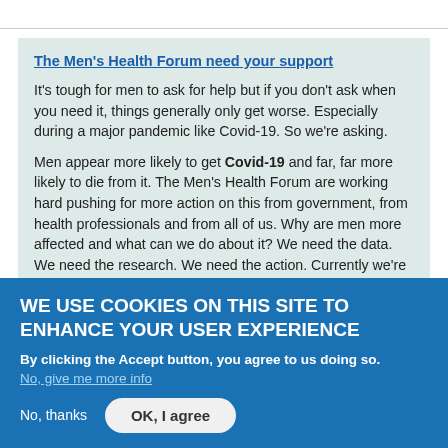The Men's Health Forum need your support
It's tough for men to ask for help but if you don't ask when you need it, things generally only get worse. Especially during a major pandemic like Covid-19. So we're asking.
Men appear more likely to get Covid-19 and far, far more likely to die from it. The Men's Health Forum are working hard pushing for more action on this from government, from health professionals and from all of us. Why are men more affected and what can we do about it? We need the data. We need the research. We need the action. Currently we're the only UK charity doing this - please help us.
WE USE COOKIES ON THIS SITE TO ENHANCE YOUR USER EXPERIENCE
By clicking the Accept button, you agree to us doing so.
No, give me more info
No, thanks
OK, I agree